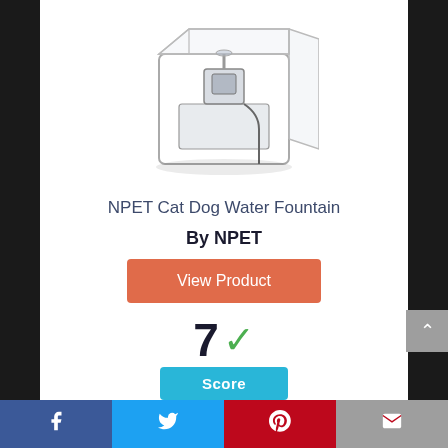[Figure (photo): A transparent plastic cat/dog water fountain with a pump mechanism visible inside, square shape with clear casing.]
NPET Cat Dog Water Fountain
By NPET
View Product
7 ✓
Score
Facebook | Twitter | Pinterest | Email